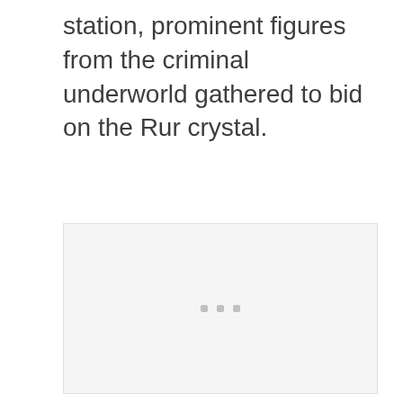station, prominent figures from the criminal underworld gathered to bid on the Rur crystal.
[Figure (photo): A large light gray rectangular image placeholder with three small gray dots/squares centered near the lower middle of the box.]